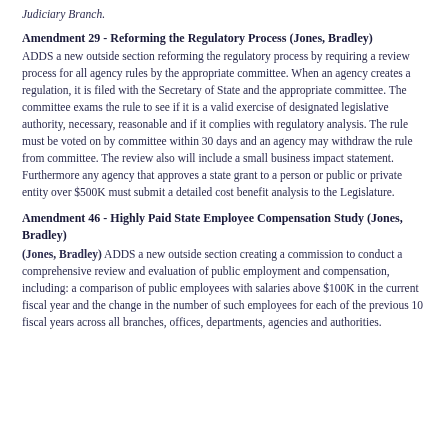Judiciary Branch.
Amendment 29 - Reforming the Regulatory Process (Jones, Bradley)
ADDS a new outside section reforming the regulatory process by requiring a review process for all agency rules by the appropriate committee. When an agency creates a regulation, it is filed with the Secretary of State and the appropriate committee. The committee exams the rule to see if it is a valid exercise of designated legislative authority, necessary, reasonable and if it complies with regulatory analysis. The rule must be voted on by committee within 30 days and an agency may withdraw the rule from committee. The review also will include a small business impact statement. Furthermore any agency that approves a state grant to a person or public or private entity over $500K must submit a detailed cost benefit analysis to the Legislature.
Amendment 46 - Highly Paid State Employee Compensation Study (Jones, Bradley)
ADDS a new outside section creating a commission to conduct a comprehensive review and evaluation of public employment and compensation, including: a comparison of public employees with salaries above $100K in the current fiscal year and the change in the number of such employees for each of the previous 10 fiscal years across all branches, offices, departments, agencies and authorities.